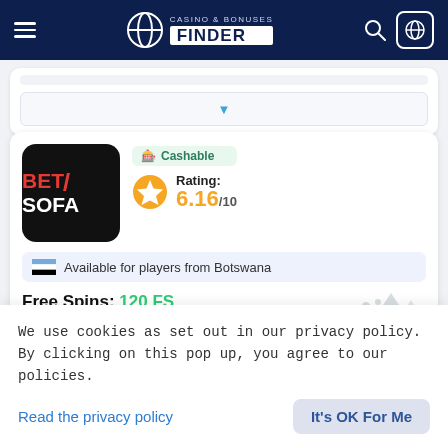CASINO & BONUSES FINDER
[Figure (screenshot): Dropdown/filter selector UI element with a blue downward arrow]
[Figure (logo): BetSofa casino logo — black rounded square with BET in red and SOFA in white]
Cashable
Rating: 6.16/10
Available for players from Botswana
Free Spins: 120 FS
We use cookies as set out in our privacy policy. By clicking on this pop up, you agree to our policies.
Read the privacy policy
It's OK For Me